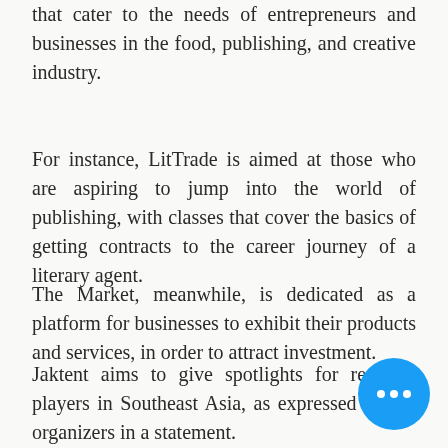that cater to the needs of entrepreneurs and businesses in the food, publishing, and creative industry.
For instance, LitTrade is aimed at those who are aspiring to jump into the world of publishing, with classes that cover the basics of getting contracts to the career journey of a literary agent.
The Market, meanwhile, is dedicated as a platform for businesses to exhibit their products and services, in order to attract investment.
Jaktent aims to give spotlights for regional players in Southeast Asia, as expressed by the organizers in a statement.